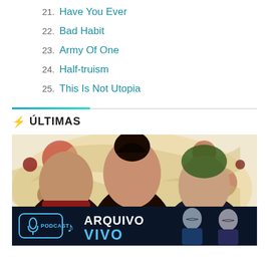21. Have You Ever
22. Bad Habit
23. Army Of One
24. Half-truism
25. This Is Not Utopia
⚡ ÚLTIMAS
[Figure (photo): Photo of three men (a band) posed together against a colorful splattered background]
[Figure (photo): Advertisement banner: PODCAST - ARQUIVO VIVO with two men in suits]